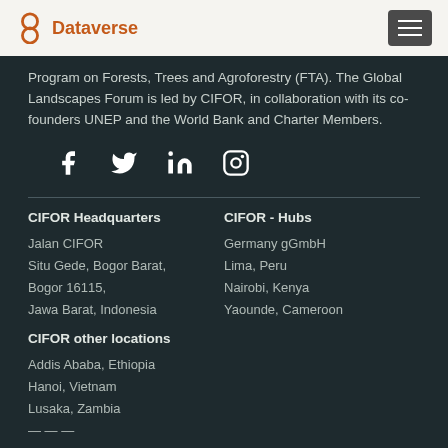Dataverse
Program on Forests, Trees and Agroforestry (FTA). The Global Landscapes Forum is led by CIFOR, in collaboration with its co-founders UNEP and the World Bank and Charter Members.
[Figure (illustration): Social media icons: Facebook, Twitter, LinkedIn, Instagram]
CIFOR Headquarters
Jalan CIFOR
Situ Gede, Bogor Barat,
Bogor 16115,
Jawa Barat, Indonesia
CIFOR - Hubs
Germany gGmbH
Lima, Peru
Nairobi, Kenya
Yaounde, Cameroon
CIFOR other locations
Addis Ababa, Ethiopia
Hanoi, Vietnam
Lusaka, Zambia